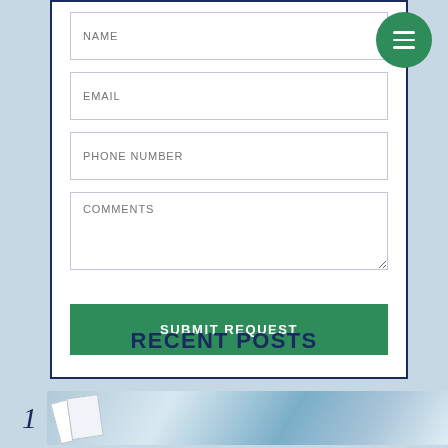[Figure (screenshot): Web form with fields for NAME, EMAIL, PHONE NUMBER, COMMENTS, and a SUBMIT REQUEST button. A green circular hamburger menu icon appears in the top right. Below the form is a RECENT POSTS section heading with a numbered post beginning.]
RECENT POSTS
1